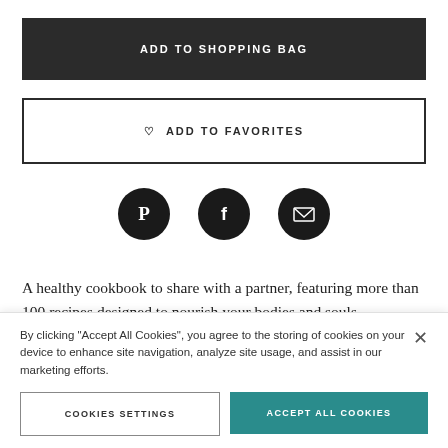ADD TO SHOPPING BAG
♡  ADD TO FAVORITES
[Figure (other): Three social share icons: Pinterest (P), Facebook (f), and Email (envelope), each in a black circle]
A healthy cookbook to share with a partner, featuring more than 100 recipes designed to nourish your bodies and souls.
Food writer and health blogger Lia Moody once followed...
By clicking "Accept All Cookies", you agree to the storing of cookies on your device to enhance site navigation, analyze site usage, and assist in our marketing efforts.
COOKIES SETTINGS
ACCEPT ALL COOKIES